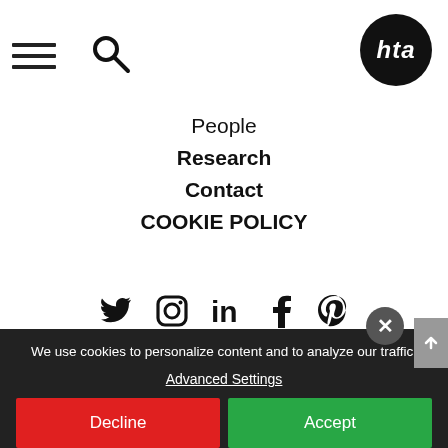HTA website navigation header with hamburger menu, search icon, and HTA logo
People
Research
Contact
COOKIE POLICY
[Figure (other): Social media icons row: Twitter, Instagram, LinkedIn, Facebook, Pinterest]
HTA London:
78 Chamber Street, London, E1 8BL - T: 020 7485 8555
HTA Edinburgh:
99 McDonald Road, Edinburgh, EH7 4NS - T: 0131 2...
We use cookies to personalize content and to analyze our traffic. Advanced Settings
Decline  Accept